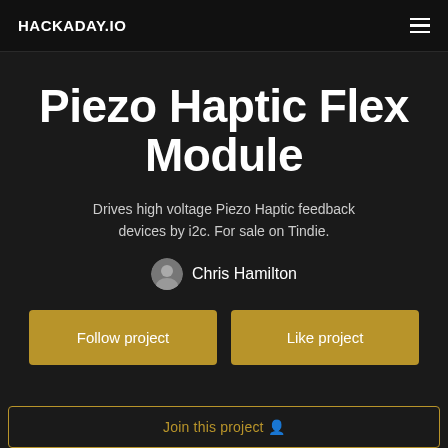HACKADAY.IO
Piezo Haptic Flex Module
Drives high voltage Piezo Haptic feedback devices by i2c. For sale on Tindie.
Chris Hamilton
Follow project
Like project
Join this project